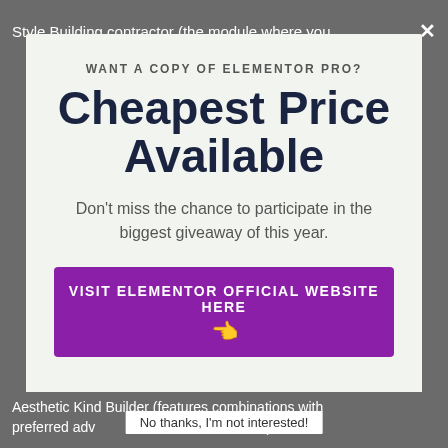Style Building contractor (the module where you  ×
WANT A COPY OF ELEMENTOR PRO?
Cheapest Price Available
Don't miss the chance to participate in the biggest giveaway of this year.
VISIT ELEMENTOR OFFICIAL WEBSITE HERE 👈
Aesthetic Kind Builder (features combinations with preferred advertising and marketing tools).
No thanks, I'm not interested!